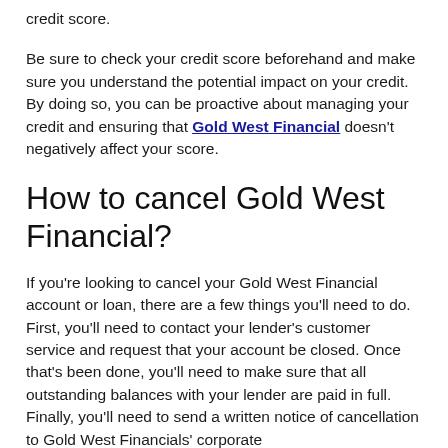credit score.
Be sure to check your credit score beforehand and make sure you understand the potential impact on your credit. By doing so, you can be proactive about managing your credit and ensuring that Gold West Financial doesn't negatively affect your score.
How to cancel Gold West Financial?
If you're looking to cancel your Gold West Financial account or loan, there are a few things you'll need to do. First, you'll need to contact your lender's customer service and request that your account be closed. Once that's been done, you'll need to make sure that all outstanding balances with your lender are paid in full. Finally, you'll need to send a written notice of cancellation to Gold West Financials' corporate